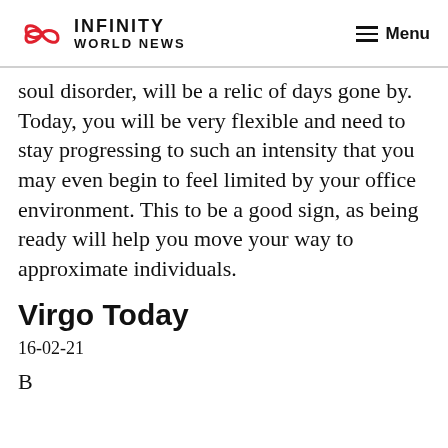INFINITY WORLD NEWS | Menu
soul disorder, will be a relic of days gone by. Today, you will be very flexible and need to stay progressing to such an intensity that you may even begin to feel limited by your office environment. This to be a good sign, as being ready will help you move your way to approximate individuals.
Virgo Today
16-02-21
B...